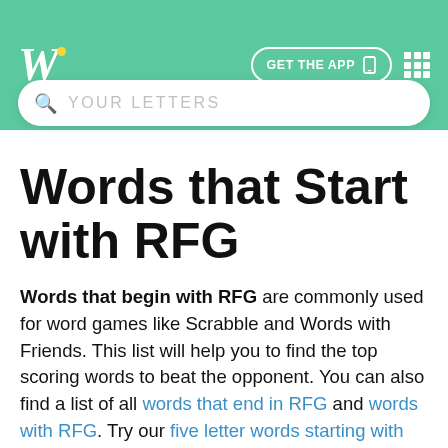Words With Friends / Scrabble word finder app header with logo, GET THE APP button, and search bar with placeholder YOUR LETTERS
Words that Start with RFG
Words that begin with RFG are commonly used for word games like Scrabble and Words with Friends. This list will help you to find the top scoring words to beat the opponent. You can also find a list of all words that end in RFG and words with RFG. Try our five letter words starting with